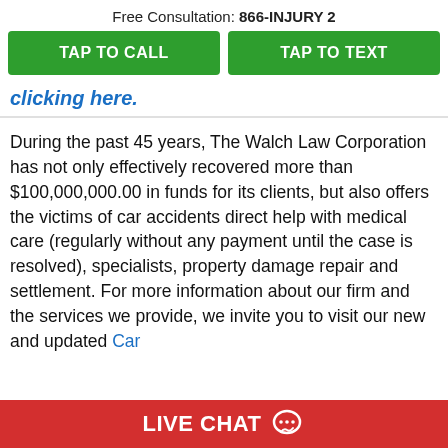Free Consultation: 866-INJURY 2
[Figure (other): Two green call-to-action buttons: TAP TO CALL and TAP TO TEXT]
clicking here.
During the past 45 years, The Walch Law Corporation has not only effectively recovered more than $100,000,000.00 in funds for its clients, but also offers the victims of car accidents direct help with medical care (regularly without any payment until the case is resolved), specialists, property damage repair and settlement. For more information about our firm and the services we provide, we invite you to visit our new and updated Car
LIVE CHAT